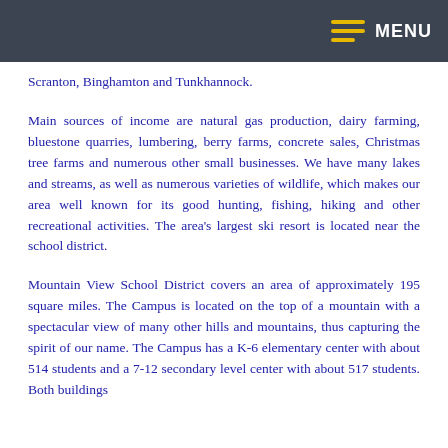MENU
Scranton, Binghamton and Tunkhannock.
Main sources of income are natural gas production, dairy farming, bluestone quarries, lumbering, berry farms, concrete sales, Christmas tree farms and numerous other small businesses. We have many lakes and streams, as well as numerous varieties of wildlife, which makes our area well known for its good hunting, fishing, hiking and other recreational activities. The area's largest ski resort is located near the school district.
Mountain View School District covers an area of approximately 195 square miles. The Campus is located on the top of a mountain with a spectacular view of many other hills and mountains, thus capturing the spirit of our name. The Campus has a K-6 elementary center with about 514 students and a 7-12 secondary level center with about 517 students. Both buildings